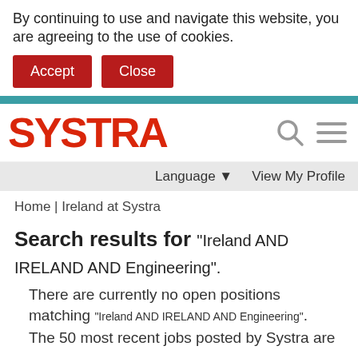By continuing to use and navigate this website, you are agreeing to the use of cookies.
Accept   Close
[Figure (logo): SYSTRA company logo in red with search and menu icons]
Language ▾   View My Profile
Home | Ireland at Systra
Search results for "Ireland AND IRELAND AND Engineering".
There are currently no open positions matching "Ireland AND IRELAND AND Engineering".
The 50 most recent jobs posted by Systra are